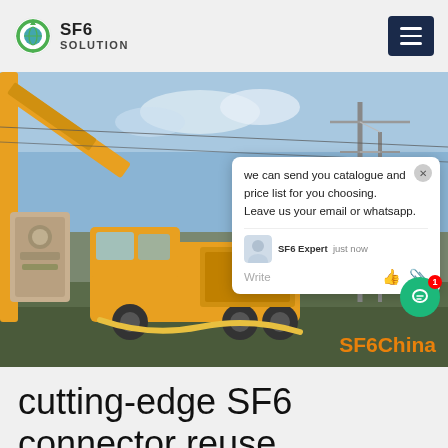SF6 SOLUTION
[Figure (photo): Photo of yellow industrial truck and SF6 gas handling equipment at an electrical substation with transmission towers in background. A live chat popup overlay is visible with text: 'we can send you catalogue and price list for you choosing. Leave us your email or whatsapp.' SF6 Expert · just now. Write. SF6China watermark in orange at bottom right.]
cutting-edge SF6 connector reuse manufacturers